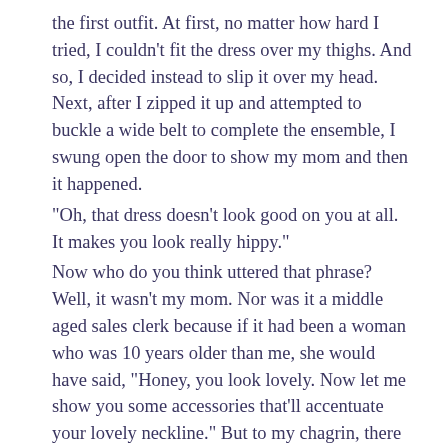the first outfit. At first, no matter how hard I tried, I couldn't fit the dress over my thighs. And so, I decided instead to slip it over my head. Next, after I zipped it up and attempted to buckle a wide belt to complete the ensemble, I swung open the door to show my mom and then it happened.
“Oh, that dress doesn’t look good on you at all. It makes you look really hippy.”
Now who do you think uttered that phrase? Well, it wasn't my mom. Nor was it a middle aged sales clerk because if it had been a woman who was 10 years older than me, she would have said, “Honey, you look lovely. Now let me show you some accessories that’ll accentuate your lovely neckline.” But to my chagrin, there was a twentysomething rail thin salesgirl on duty who pulled no punches.
Sure, I know my hips have expanded as of late – possibly because I spend way too much time sitting on the couch